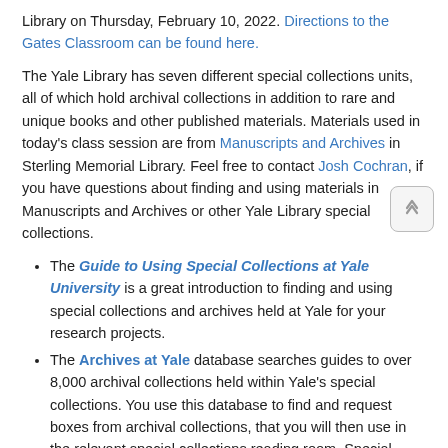Library on Thursday, February 10, 2022. Directions to the Gates Classroom can be found here.
The Yale Library has seven different special collections units, all of which hold archival collections in addition to rare and unique books and other published materials. Materials used in today's class session are from Manuscripts and Archives in Sterling Memorial Library. Feel free to contact Josh Cochran, if you have questions about finding and using materials in Manuscripts and Archives or other Yale Library special collections.
The Guide to Using Special Collections at Yale University is a great introduction to finding and using special collections and archives held at Yale for your research projects.
The Archives at Yale database searches guides to over 8,000 archival collections held within Yale's special collections. You use this database to find and request boxes from archival collections, that you will then use in the relevant special collections reading room. Special collections materials, including archives, cannot be checked out.
The Primary Sources at Yale website is a great resource if you're not sure what types of materials might serve as primary sources for your research project. Be aware that archives and special collections are often not where you'll find the primary